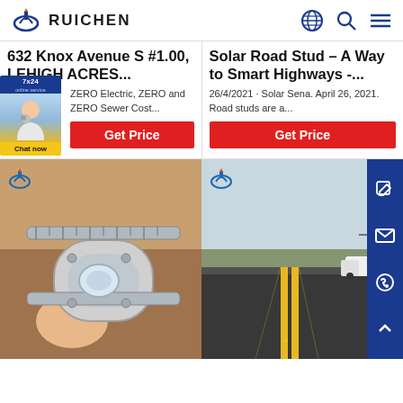RUICHEN
632 Knox Avenue S #1.00, LEHIGH ACRES...
Solar Road Stud – A Way to Smart Highways -...
ZERO Electric, ZERO and ZERO Sewer Cost...
26/4/2021 · Solar Sena. April 26, 2021. Road studs are a...
Get Price
Get Price
[Figure (photo): Hand holding a solar road stud device measured with calipers, with Ruichen logo overlay]
[Figure (photo): Road with yellow center lines and a white truck in the distance, with Ruichen logo overlay]